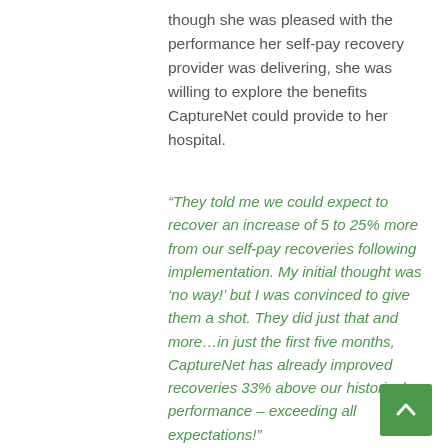though she was pleased with the performance her self-pay recovery provider was delivering, she was willing to explore the benefits CaptureNet could provide to her hospital.
“They told me we could expect to recover an increase of 5 to 25% more from our self-pay recoveries following implementation. My initial thought was ‘no way!’ but I was convinced to give them a shot. They did just that and more…in just the first five months, CaptureNet has already improved recoveries 33% above our historical performance – exceeding all expectations!”